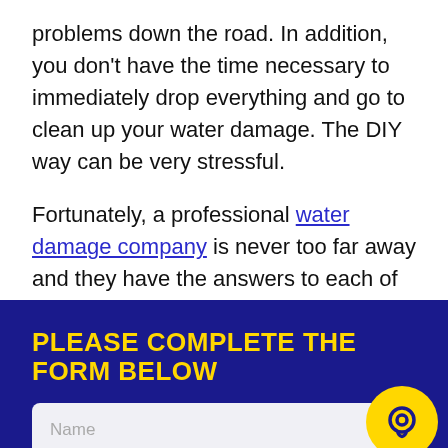problems down the road. In addition, you don't have the time necessary to immediately drop everything and go to clean up your water damage. The DIY way can be very stressful.
Fortunately, a professional water damage company is never too far away and they have the answers to each of these concerns.
PLEASE COMPLETE THE FORM BELOW